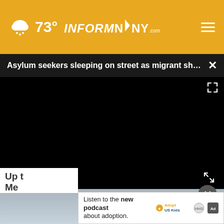73° INFORMNNY.com
Asylum seekers sleeping on street as migrant shel... ×
[Figure (screenshot): Black video player with play button and mute icon, fullscreen icon visible]
[Figure (photo): Partial view of grey/sky background photo below video]
Up t... Me...
Listen to the new podcast about adoption. Adopt US Kids ad